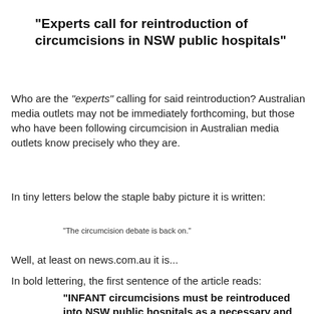"Experts call for reintroduction of circumcisions in NSW public hospitals"
Who are the "experts" calling for said reintroduction? Australian media outlets may not be immediately forthcoming, but those who have been following circumcision in Australian media outlets know precisely who they are.
In tiny letters below the staple baby picture it is written:
"The circumcision debate is back on."
Well, at least on news.com.au it is...
In bold lettering, the first sentence of the article reads:
"INFANT circumcisions must be reintroduced into NSW public hospitals as a necessary and cost effective